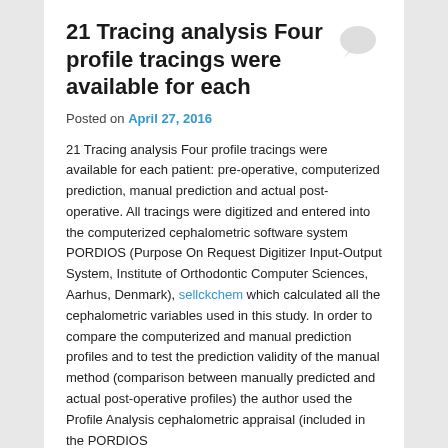21 Tracing analysis Four profile tracings were available for each
Posted on April 27, 2016
21 Tracing analysis Four profile tracings were available for each patient: pre-operative, computerized prediction, manual prediction and actual post-operative. All tracings were digitized and entered into the computerized cephalometric software system PORDIOS (Purpose On Request Digitizer Input-Output System, Institute of Orthodontic Computer Sciences, Aarhus, Denmark), sellckchem which calculated all the cephalometric variables used in this study. In order to compare the computerized and manual prediction profiles and to test the prediction validity of the manual method (comparison between manually predicted and actual post-operative profiles) the author used the Profile Analysis cephalometric appraisal (included in the PORDIOS